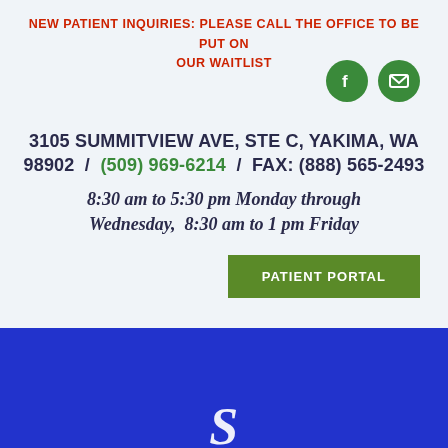NEW PATIENT INQUIRIES: PLEASE CALL THE OFFICE TO BE PUT ON OUR WAITLIST
[Figure (illustration): Two green circle social media icons: Facebook (f) and email (envelope)]
3105 SUMMITVIEW AVE, STE C, YAKIMA, WA 98902 / (509) 969-6214 / FAX: (888) 565-2493
8:30 am to 5:30 pm Monday through Wednesday, 8:30 am to 1 pm Friday
PATIENT PORTAL
[Figure (illustration): Blue banner section at the bottom with partial white italic script text beginning with 'S']